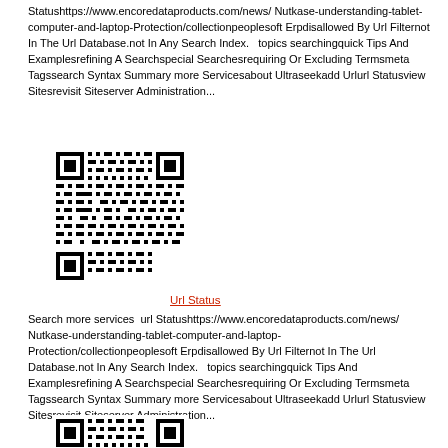Statushttps://www.encoredataproducts.com/news/ Nutkase-understanding-tablet-computer-and-laptop-Protection/collectionpeoplesoft Erpdisallowed By Url Filternot In The Url Database.not In Any Search Index.   topics searchingquick Tips And Examplesrefining A Searchspecial Searchesrequiring Or Excluding Termsmeta Tagssearch Syntax Summary more Servicesabout Ultraseekadd Urlurl Statusview Sitesrevisit Siteserver Administration...
[Figure (other): QR code linking to encoredataproducts.com URL]
Url Status
Search more services  url Statushttps://www.encoredataproducts.com/news/ Nutkase-understanding-tablet-computer-and-laptop-Protection/collectionpeoplesoft Erpdisallowed By Url Filternot In The Url Database.not In Any Search Index.   topics searchingquick Tips And Examplesrefining A Searchspecial Searchesrequiring Or Excluding Termsmeta Tagssearch Syntax Summary more Servicesabout Ultraseekadd Urlurl Statusview Sitesrevisit Siteserver Administration...
[Figure (other): QR code (partially visible at bottom)]